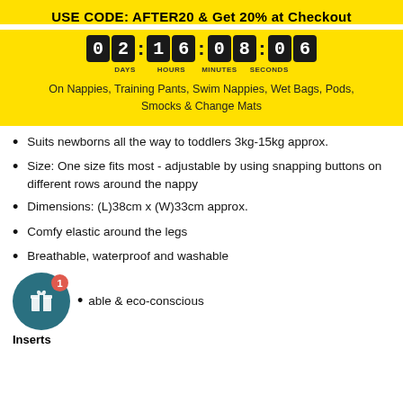USE CODE: AFTER20 & Get 20% at Checkout
[Figure (other): Countdown timer showing 02 days 16 hours 08 minutes 06 seconds]
On Nappies, Training Pants, Swim Nappies, Wet Bags, Pods, Smocks & Change Mats
Suits newborns all the way to toddlers 3kg-15kg approx.
Size: One size fits most - adjustable by using snapping buttons on different rows around the nappy
Dimensions: (L)38cm x (W)33cm approx.
Comfy elastic around the legs
Breathable, waterproof and washable
able & eco-conscious
[Figure (other): Teal circular gift icon button with red badge showing number 1 and Inserts label below]